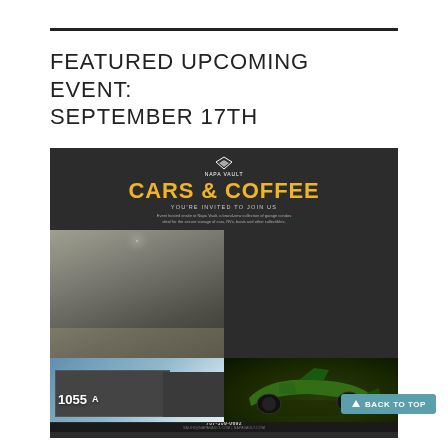FEATURED UPCOMING EVENT: SEPTEMBER 17TH
[Figure (infographic): Napa Vault Cars & Coffee event flyer. Dark background with yellow 'CARS & COFFEE' headline, event details including When: Saturday, Sept 17th 9am-3pm, Where: Napa Vault 1055 Soscol Ferry Rd, Napa. Phone: 707-309-0692, email: SALES@NAPAVAULT.COM | NAPAVAULT.COM. Photos of garage interior, building exterior numbered 1055, and a green formula racing car. Times listed: 9am-12pm complimentary coffee by Bentley's of Napa Valley, 12-3pm Stay for lunch (food truck onsite).]
BACK TO TOP